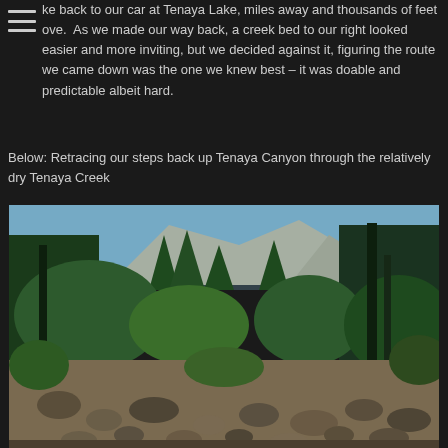ke back to our car at Tenaya Lake, miles away and thousands of feet ove. As we made our way back, a creek bed to our right looked easier and more inviting, but we decided against it, figuring the route we came down was the one we knew best – it was doable and predictable albeit hard.
Below: Retracing our steps back up Tenaya Canyon through the relatively dry Tenaya Creek
[Figure (photo): A rocky dry creek bed winding through a conifer forest with a granite mountain visible in the background under a blue sky. The foreground shows rocks and boulders with lush green trees and shrubs on both sides of the creek.]